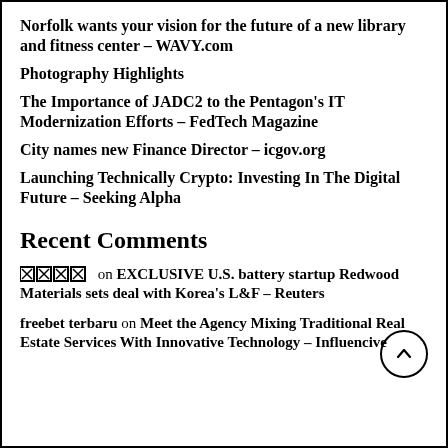Norfolk wants your vision for the future of a new library and fitness center – WAVY.com
Photography Highlights
The Importance of JADC2 to the Pentagon's IT Modernization Efforts – FedTech Magazine
City names new Finance Director – icgov.org
Launching Technically Crypto: Investing In The Digital Future – Seeking Alpha
Recent Comments
[icons] on EXCLUSIVE U.S. battery startup Redwood Materials sets deal with Korea's L&F – Reuters
freebet terbaru on Meet the Agency Mixing Traditional Real Estate Services With Innovative Technology – Influencive